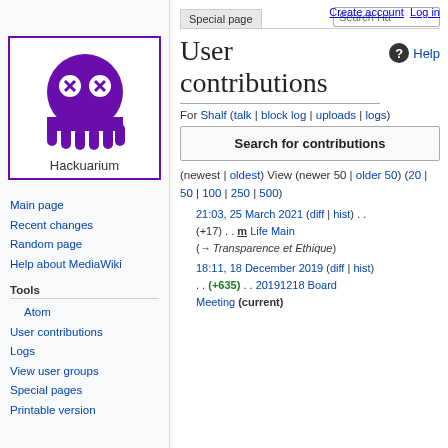Create account  Log in
[Figure (logo): Hackuarium wiki logo: purple cartoon octopus/squid character with X eyes inside a purple-bordered box, labeled 'Hackuarium']
Main page
Recent changes
Random page
Help about MediaWiki
Tools
Atom
User contributions
Logs
View user groups
Special pages
Printable version
User contributions
For Shalf (talk | block log | uploads | logs)
Search for contributions
(newest | oldest) View (newer 50 | older 50) (20 | 50 | 100 | 250 | 500)
21:03, 25 March 2021 (diff | hist) . . (+17) . . m Life Main (→Transparence et Ethique)
18:11, 18 December 2019 (diff | hist) . . (+635) . . 20191218 Board Meeting (current)